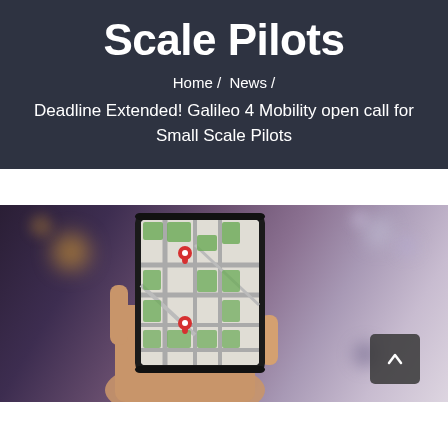Scale Pilots
Home / News /
Deadline Extended! Galileo 4 Mobility open call for Small Scale Pilots
[Figure (photo): Person holding a smartphone displaying a map navigation app with red location pins on a street map, blurred city lights in the background]